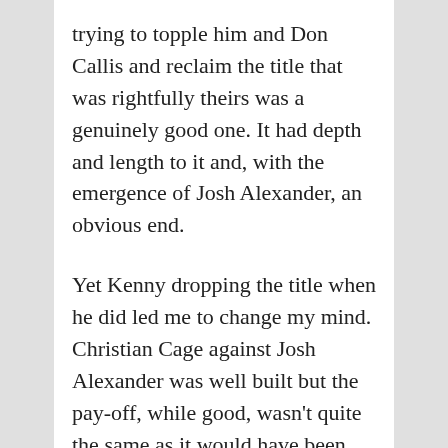trying to topple him and Don Callis and reclaim the title that was rightfully theirs was a genuinely good one. It had depth and length to it and, with the emergence of Josh Alexander, an obvious end.
Yet Kenny dropping the title when he did led me to change my mind. Christian Cage against Josh Alexander was well built but the pay-off, while good, wasn't quite the same as it would have been.
The best feud, and one that's actually still running, as such was that between Deonna Purrazzo and Mickie James. It all